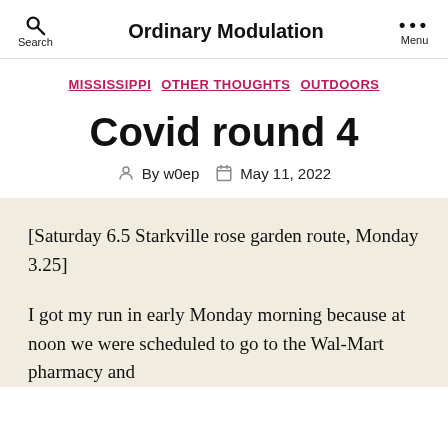Ordinary Modulation
MISSISSIPPI  OTHER THOUGHTS  OUTDOORS
Covid round 4
By w0ep  May 11, 2022
[Saturday 6.5 Starkville rose garden route, Monday 3.25]
I got my run in early Monday morning because at noon we were scheduled to go to the Wal-Mart pharmacy and